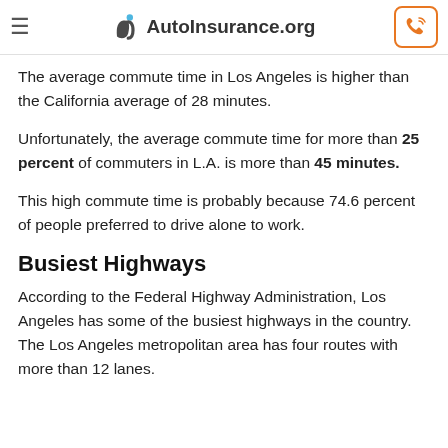≡  AutoInsurance.org
The average commute time in Los Angeles is higher than the California average of 28 minutes.
Unfortunately, the average commute time for more than 25 percent of commuters in L.A. is more than 45 minutes.
This high commute time is probably because 74.6 percent of people preferred to drive alone to work.
Busiest Highways
According to the Federal Highway Administration, Los Angeles has some of the busiest highways in the country. The Los Angeles metropolitan area has four routes with more than 12 lanes.